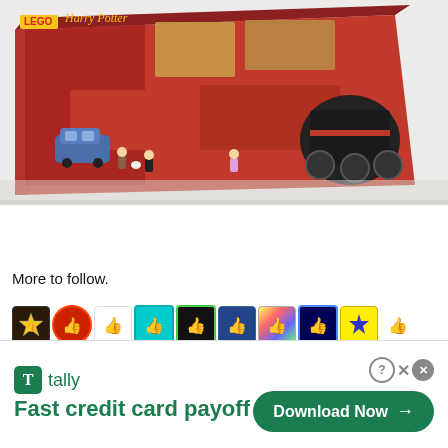[Figure (photo): Photo of a LEGO Harry Potter Hogwarts Express set box, showing the train set with minifigures including Harry Potter characters, a blue flying car, and the red steam locomotive. The box is photographed at an angle on a white cloth background.]
More to follow.
[Figure (other): A row of social media reaction icons/emoji buttons including a thumbs up in various colored backgrounds (red, teal, dark, green, blue, colorful, dark blue, yellow) plus a star icon and a small reaction icon at the end.]
[Figure (other): Tally advertisement banner: 'Fast credit card payoff' with a Download Now button and close/help icons.]